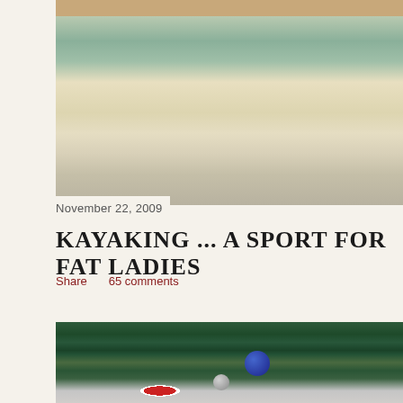[Figure (photo): Photo of a kayak or canoe on a sandy beach with water and beach grass in the background]
November 22, 2009
KAYAKING ... A SPORT FOR FAT LADIES
Share    65 comments
[Figure (photo): Photo of a decorated Christmas tree with ornaments including a blue ball, red hearts, and other decorations; a person in a Santa hat is partially visible at the bottom left]